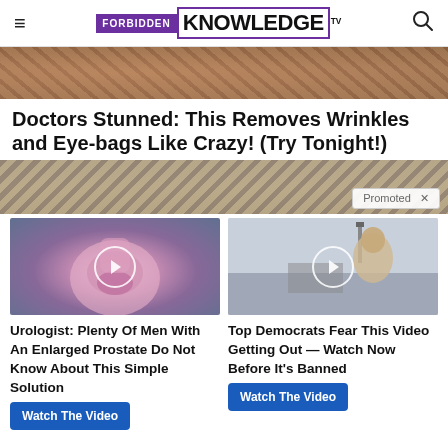FORBIDDEN KNOWLEDGE TV
[Figure (photo): Close-up photo of skin texture, showing wrinkles or texture around eye area]
Doctors Stunned: This Removes Wrinkles and Eye-bags Like Crazy! (Try Tonight!)
[Figure (photo): Promotional advertisement banner showing skin/neck area with 'Promoted' badge]
[Figure (photo): Video thumbnail showing anatomical illustration of prostate with play button]
[Figure (photo): Video thumbnail showing a woman smiling outdoors with play button]
Urologist: Plenty Of Men With An Enlarged Prostate Do Not Know About This Simple Solution
Top Democrats Fear This Video Getting Out — Watch Now Before It's Banned
Watch The Video
Watch The Video